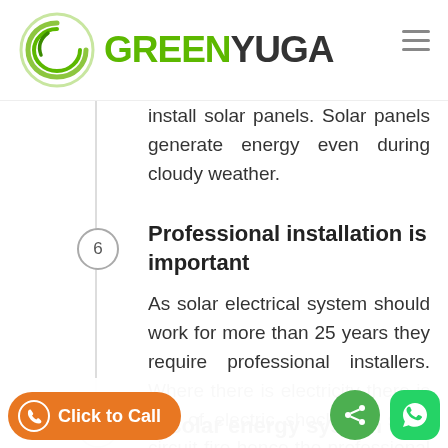[Figure (logo): GreenYuga logo with circular green swirl icon and GREENYUGA text in green and dark gray, plus hamburger menu icon]
install solar panels. Solar panels generate energy even during cloudy weather.
Professional installation is important
As solar electrical system should work for more than 25 years they require professional installers. Where there is electricity there is risk of electric shock and short circuit fire hence the professional 's requirement.
A solar energy system